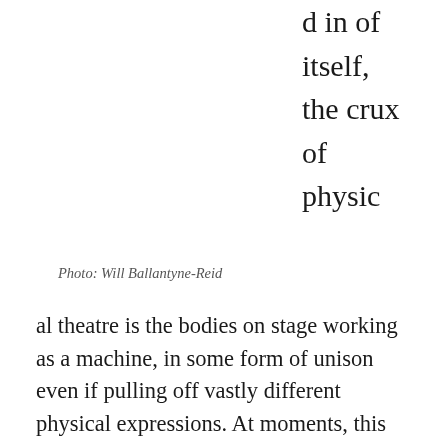d in of itself, the crux of physic
Photo: Will Ballantyne-Reid
al theatre is the bodies on stage working as a machine, in some form of unison even if pulling off vastly different physical expressions. At moments, this unison felt missing on stage but when it was there, the piece was striking and high-impact, engaging the audience by pulling us into the dramatic space of the stage. A particular example of this was in a distressing scene between Jy Hoh and Josie Richardson, two exceptional members of